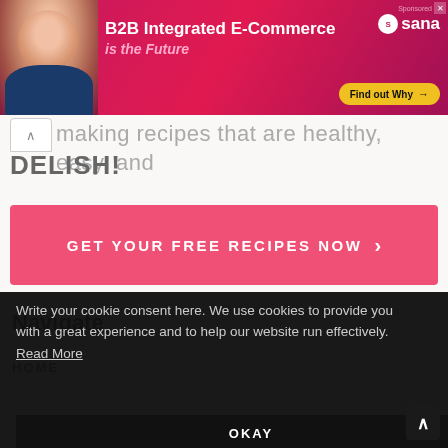[Figure (screenshot): Advertisement banner with pink/magenta gradient background. Shows a woman's photo on the left, bold white text 'B2B Integrated E-Commerce is the Future', Sana logo on right, and yellow 'Find out Why →' button.]
making recipes that are healthy, easy, and DELISH!
[Figure (screenshot): Pink CTA button with text 'GET YOUR FREE RECIPES NOW ›']
Navigate
HOME
Write your cookie consent here. We use cookies to provide you with a great experience and to help our website run effectively. Read More
OKAY